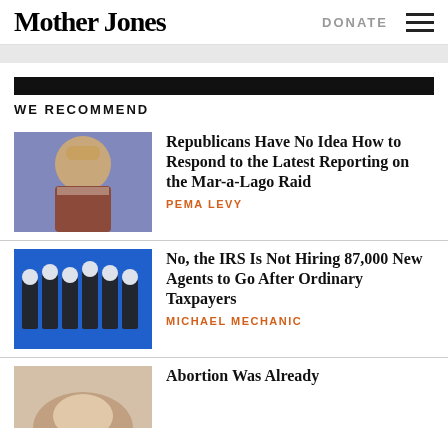Mother Jones | DONATE
WE RECOMMEND
[Figure (photo): Photo of Donald Trump at a podium with blue and purple background]
Republicans Have No Idea How to Respond to the Latest Reporting on the Mar-a-Lago Raid
PEMA LEVY
[Figure (photo): Black and white photo of multiple men in suits on blue background]
No, the IRS Is Not Hiring 87,000 New Agents to Go After Ordinary Taxpayers
MICHAEL MECHANIC
[Figure (photo): Partial photo - person visible at bottom]
Abortion Was Already